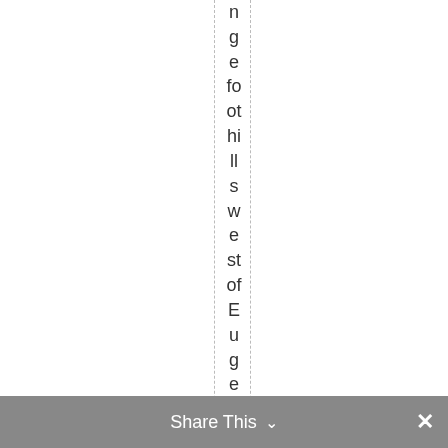ngefoothills west of Eugene, Oregon
Share This ∨  ×